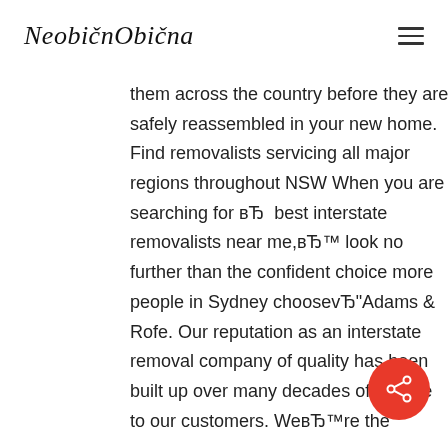NeobičnObična
them across the country before they are safely reassembled in your new home. Find removalists servicing all major regions throughout NSW When you are searching for вЂ  best interstate removalists near me,вЂ™ look no further than the confident choice more people in Sydney choosevЂ"Adams & Rofe. Our reputation as an interstate removal company of quality has been built up over many decades of service to our customers. WeвЂ™re the